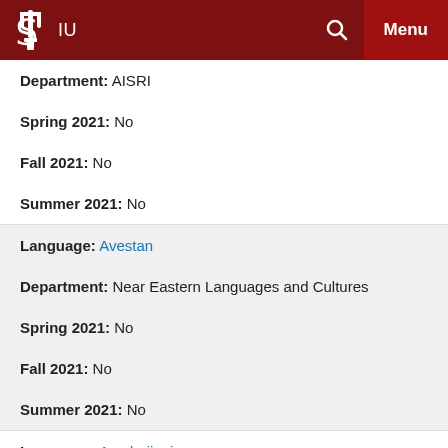IU  [Search]  Menu
Department: AISRI
Spring 2021: No
Fall 2021: No
Summer 2021: No
Language: Avestan
Department: Near Eastern Languages and Cultures
Spring 2021: No
Fall 2021: No
Summer 2021: No
Language: Azerbaijani